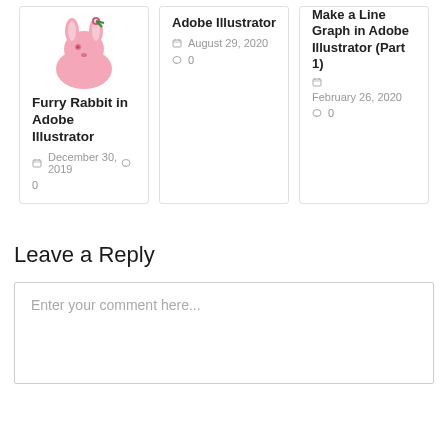[Figure (illustration): Pink furry rabbit illustration with small flower/tassels on head]
Furry Rabbit in Adobe Illustrator
December 30, 2019  0
August 29, 2020  0
Make a Line Graph in Adobe Illustrator (Part 1)
February 26, 2020  0
Leave a Reply
Enter your comment here...